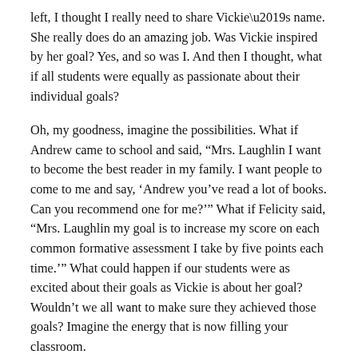left, I thought I really need to share Vickie’s name. She really does do an amazing job. Was Vickie inspired by her goal? Yes, and so was I. And then I thought, what if all students were equally as passionate about their individual goals?
Oh, my goodness, imagine the possibilities. What if Andrew came to school and said, “Mrs. Laughlin I want to become the best reader in my family. I want people to come to me and say, ‘Andrew you’ve read a lot of books. Can you recommend one for me?’” What if Felicity said, “Mrs. Laughlin my goal is to increase my score on each common formative assessment I take by five points each time.’” What could happen if our students were as excited about their goals as Vickie is about her goal? Wouldn’t we all want to make sure they achieved those goals? Imagine the energy that is now filling your classroom.